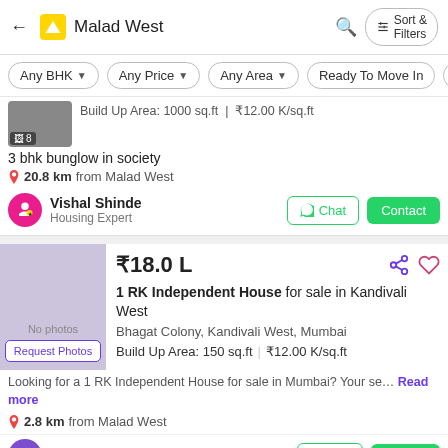Malad West — Sort & Filters
Any BHK | Any Price | Any Area | Ready To Move In | Owner
Build Up Area: 1000 sq.ft | ₹12.00 K/sq.ft
3 bhk bunglow in society
20.8 km from Malad West
Vishal Shinde — Housing Expert — Chat | Contact
₹18.0 L
1 RK Independent House for sale in Kandivali West Bhagat Colony, Kandivali West, Mumbai
Build Up Area: 150 sq.ft | ₹12.00 K/sq.ft
Looking for a 1 RK Independent House for sale in Mumbai? Your se… Read more
2.8 km from Malad West
Akbar Shaikh — Chat | Contact